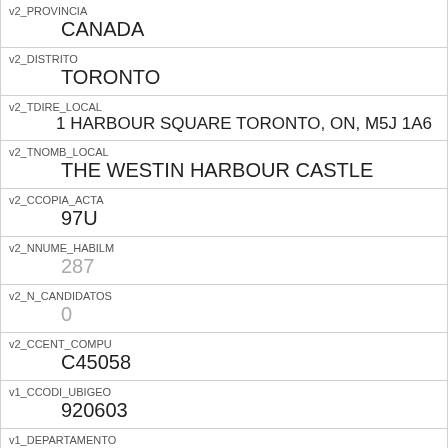| v2_PROVINCIA | CANADA |
| v2_DISTRITO | TORONTO |
| v2_TDIRE_LOCAL | 1 HARBOUR SQUARE TORONTO, ON, M5J 1A6 |
| v2_TNOMB_LOCAL | THE WESTIN HARBOUR CASTLE |
| v2_CCOPIA_ACTA | 97U |
| v2_NNUME_HABILM | 287 |
| v2_N_CANDIDATOS | 0 |
| v2_CCENT_COMPU | C45058 |
| v1_CCODI_UBIGEO | 920603 |
| v1_DEPARTAMENTO | AMERICA |